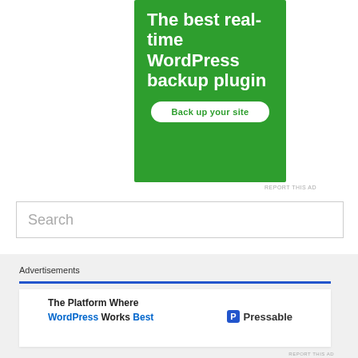[Figure (infographic): Green advertisement banner for a WordPress backup plugin. White bold text reads 'The best real-time WordPress backup plugin' with a white rounded button 'Back up your site' in green text.]
REPORT THIS AD
Search
[Figure (infographic): Bottom advertisement area with label 'Advertisements', a blue horizontal rule, and a white card ad for Pressable: 'The Platform Where WordPress Works Best' with Pressable logo on the right.]
REPORT THIS AD